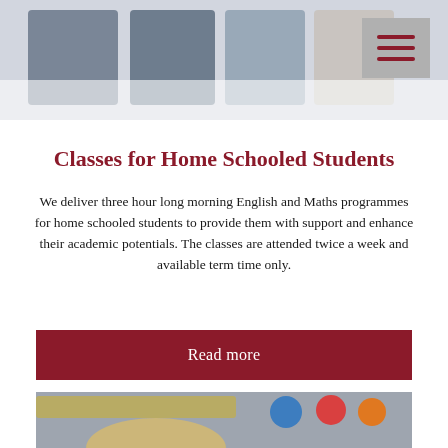[Figure (photo): Blurred header image showing coloured blocks in blue and beige tones, serving as website banner]
[Figure (screenshot): Hamburger menu icon (three horizontal dark red lines) on grey square background in top right corner]
Classes for Home Schooled Students
We deliver three hour long morning English and Maths programmes for home schooled students to provide them with support and enhance their academic potentials. The classes are attended twice a week and available term time only.
Read more
[Figure (photo): Child with blonde hair near colourful toy blocks with yellow, blue, red and orange elements]